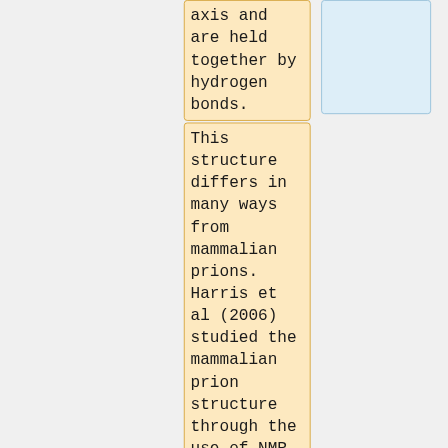axis and are held together by hydrogen bonds.
This structure differs in many ways from mammalian prions. Harris et al (2006) studied the mammalian prion structure through the use of NMR spectroscopy